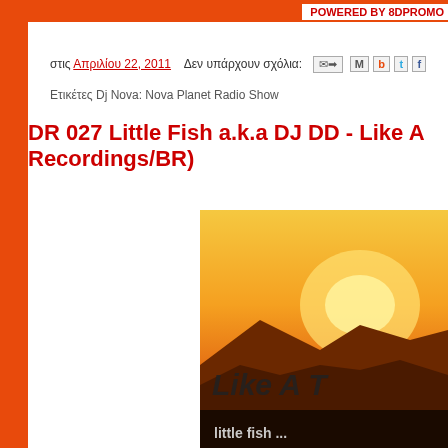POWERED BY 8DPROMO
στις Απριλίου 22, 2011   Δεν υπάρχουν σχόλια:
Ετικέτες Dj Nova: Nova Planet Radio Show
DR 027 Little Fish a.k.a DJ DD - Like A Recordings/BR)
[Figure (photo): Album cover or promotional image showing a sunset over mountains with orange/yellow sky and the text 'Like A T...' visible, with partial text 'little fish...' at the bottom]